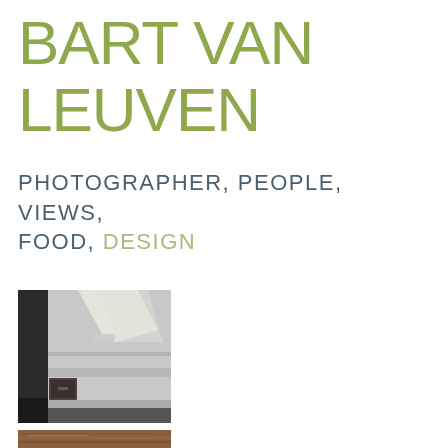BART VAN LEUVEN
PHOTOGRAPHER, PEOPLE, VIEWS, FOOD, DESIGN
[Figure (photo): Black and white architectural interior photograph showing geometric concrete shelves/ledges with dramatic light and shadow, minimalist design]
[Figure (photo): Partial view of a second photograph, warm tones, appears to show textured surface or food]